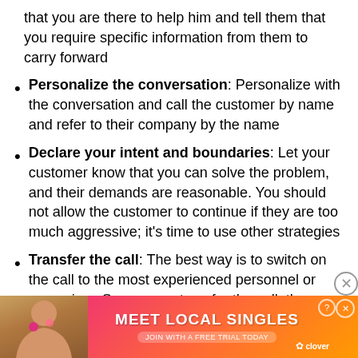that you are there to help him and tell them that you require specific information from them to carry forward
Personalize the conversation: Personalize with the conversation and call the customer by name and refer to their company by the name
Declare your intent and boundaries: Let your customer know that you can solve the problem, and their demands are reasonable. You should not allow the customer to continue if they are too much aggressive; it's time to use other strategies
Transfer the call: The best way is to switch on the call to the most experienced personnel or supervisor. Sooner you transfer the call, the
[Figure (illustration): Advertisement banner: Meet Local Singles - Join with a free trial today - Clover app, with photo of a woman]